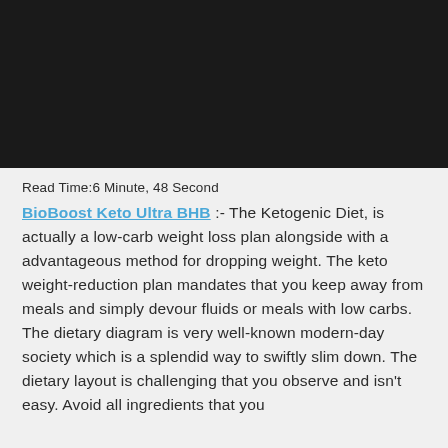[Figure (photo): Black banner image at the top of the page]
Read Time:6 Minute, 48 Second
BioBoost Keto Ultra BHB :- The Ketogenic Diet, is actually a low-carb weight loss plan alongside with a advantageous method for dropping weight. The keto weight-reduction plan mandates that you keep away from meals and simply devour fluids or meals with low carbs. The dietary diagram is very well-known modern-day society which is a splendid way to swiftly slim down. The dietary layout is challenging that you observe and isn't easy. Avoid all ingredients that you